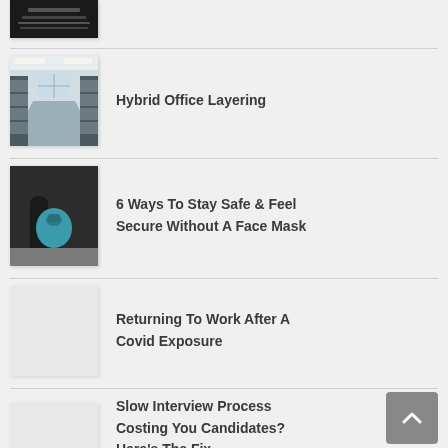[Figure (photo): Partial thumbnail of dark item at top, cropped]
[Figure (photo): Empty office hallway with rows of cubicles and overhead lighting]
Hybrid Office Layering
[Figure (photo): Person holding a blue kettlebell or face shield, wearing black clothes]
6 Ways To Stay Safe & Feel Secure Without A Face Mask
[Figure (photo): Blank/white thumbnail image]
Returning To Work After A Covid Exposure
[Figure (photo): Blank/white thumbnail image]
Slow Interview Process Costing You Candidates? Here's The Fix